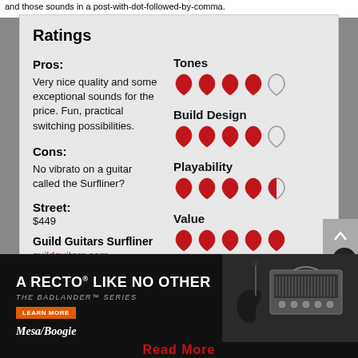and these sounds in a post-with-dot-followed-by-comma.
Ratings
Pros: Very nice quality and some exceptional sounds for the price. Fun, practical switching possibilities.
Cons: No vibrato on a guitar called the Surfliner?
Street: $449
Guild Guitars Surfliner
guildguitars.com
[Figure (infographic): Tones rating: 4 out of 5 guitar picks (4 filled red, 1 outline)]
[Figure (infographic): Build Design rating: 4 out of 5 guitar picks (4 filled red, 1 outline)]
[Figure (infographic): Playability rating: 4.5 out of 5 guitar picks (4 filled red, 1 half)]
[Figure (infographic): Value rating: 5 out of 5 guitar picks (5 filled red)]
[Figure (photo): Mesa/Boogie Badlander Series amplifier advertisement. Text: A RECTO LIKE NO OTHER, THE BADLANDER SERIES, LEARN MORE button, Mesa/Boogie logo. Image of amp head and guitar on right.]